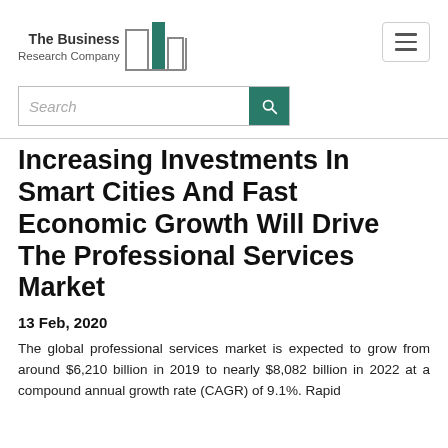The Business Research Company
Increasing Investments In Smart Cities And Fast Economic Growth Will Drive The Professional Services Market
13 Feb, 2020
The global professional services market is expected to grow from around $6,210 billion in 2019 to nearly $8,082 billion in 2022 at a compound annual growth rate (CAGR) of 9.1%. Rapid